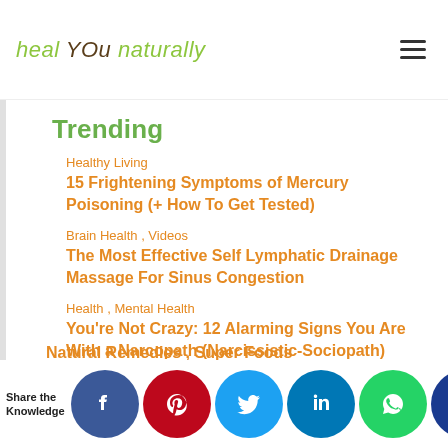heal YOU naturally
Trending
Healthy Living
15 Frightening Symptoms of Mercury Poisoning (+ How To Get Tested)
Brain Health , Videos
The Most Effective Self Lymphatic Drainage Massage For Sinus Congestion
Health , Mental Health
You're Not Crazy: 12 Alarming Signs You Are With a Narcopath (Narcissistic-Sociopath)
Natural Remedies , Super Foods
Share the Knowledge